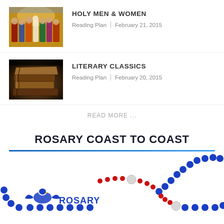[Figure (photo): A colorful religious painting showing holy figures crowded together]
HOLY MEN & WOMEN
Reading Plan | February 21, 2015
[Figure (photo): A stack of old, worn leather-bound books photographed in dark warm tones]
LITERARY CLASSICS
Reading Plan | February 20, 2015
READ MORE ...
ROSARY COAST TO COAST
[Figure (logo): Rosary Coast to Coast logo with blue and red beads forming a rosary shape and an eagle emblem with the word ROSARY]